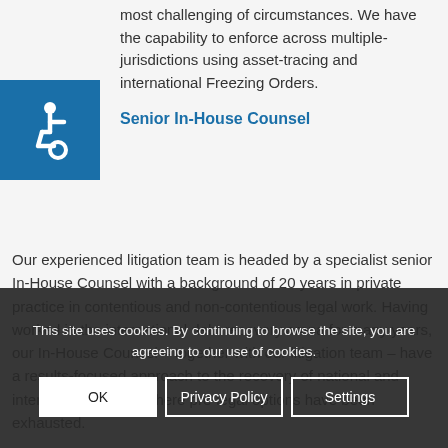most challenging of circumstances. We have the capability to enforce across multiple-jurisdictions using asset-tracing and international Freezing Orders.
[Figure (illustration): Blue square with white wheelchair accessibility icon]
Senior In-House Counsel
Our experienced litigation team is headed by a specialist senior In-House Counsel with a background of 20 years in private practice in contentious and non-contentious legal work. Having worked in the international debt recovery arena for many years, our In-House Counsel – together with our litigation team – have a results-focused approach to the recovery of national and international claims where pre-legal options have been exhausted.
This site uses cookies. By continuing to browse the site, you are agreeing to our use of cookies.